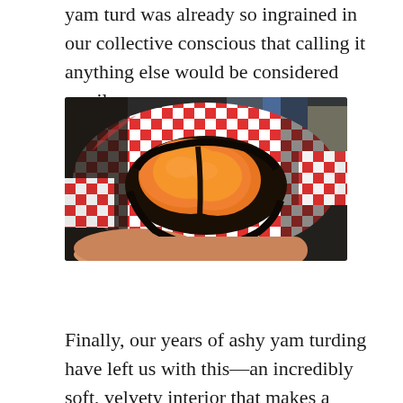yam turd was already so ingrained in our collective conscious that calling it anything else would be considered sacrilege.
[Figure (photo): A hand holding a split open roasted yam/sweet potato showing bright orange interior, placed in red and white checkered deli paper, photographed outdoors.]
Finally, our years of ashy yam turding have left us with this—an incredibly soft, velvety interior that makes a